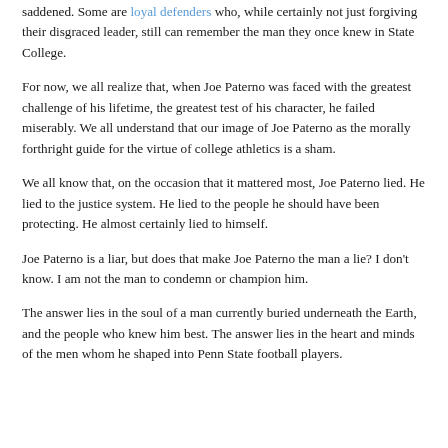saddened. Some are loyal defenders who, while certainly not just forgiving their disgraced leader, still can remember the man they once knew in State College.
For now, we all realize that, when Joe Paterno was faced with the greatest challenge of his lifetime, the greatest test of his character, he failed miserably. We all understand that our image of Joe Paterno as the morally forthright guide for the virtue of college athletics is a sham.
We all know that, on the occasion that it mattered most, Joe Paterno lied. He lied to the justice system. He lied to the people he should have been protecting. He almost certainly lied to himself.
Joe Paterno is a liar, but does that make Joe Paterno the man a lie? I don't know. I am not the man to condemn or champion him.
The answer lies in the soul of a man currently buried underneath the Earth, and the people who knew him best. The answer lies in the heart and minds of the men whom he shaped into Penn State football players.